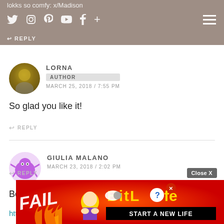lokks so comfy: x/Madison
LORNA
AUTHOR
MARCH 25, 2018 / 7:55 PM
So glad you like it!
↩ REPLY
GIULIA MALANO
MARCH 23, 2018 / 2:02 PM
Beautiful outfit and pics!
https://julesonthemoon.blogspot.it
↩ REPLY
[Figure (screenshot): BitLife advertisement banner with FAIL text, cartoon character, and START A NEW LIFE tagline]